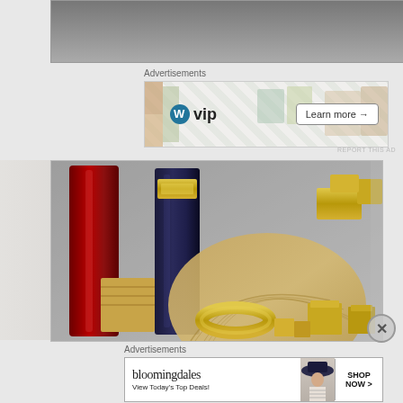[Figure (photo): Partial view of a dark gray surface or shelf, cropped at the top of the page]
Advertisements
[Figure (infographic): WordPress VIP advertisement banner with WordPress logo, 'vip' text, stock/Facebook/other brand imagery, and a 'Learn more →' button]
REPORT THIS AD
[Figure (photo): Decorative still-life photo showing red and dark blue/black tall candles or tubes, a wooden fan-shaped display, and multiple gold metallic rings, cups, and small boxes arranged on a surface]
Advertisements
[Figure (infographic): Bloomingdale's advertisement banner showing 'bloomingdales' in serif font, 'View Today's Top Deals!' tagline, a woman in a wide-brim hat, and a 'SHOP NOW >' button]